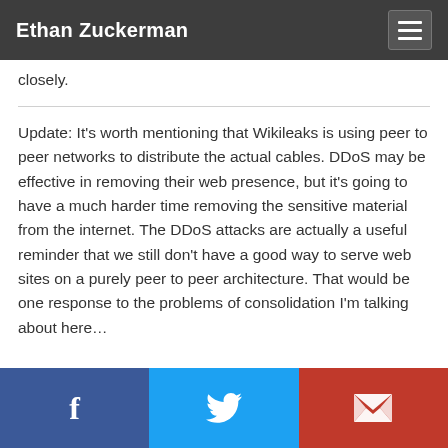Ethan Zuckerman
closely.
Update: It's worth mentioning that Wikileaks is using peer to peer networks to distribute the actual cables. DDoS may be effective in removing their web presence, but it's going to have a much harder time removing the sensitive material from the internet. The DDoS attacks are actually a useful reminder that we still don't have a good way to serve web sites on a purely peer to peer architecture. That would be one response to the problems of consolidation I'm talking about here…